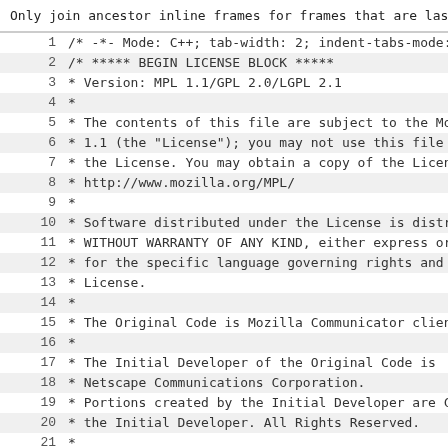Only join ancestor inline frames for frames that are last ch
Code listing lines 1-28: Mozilla MPL/GPL/LGPL license block header
1    /* -*- Mode: C++; tab-width: 2; indent-tabs-mode: n
2    /* ***** BEGIN LICENSE BLOCK *****
3     * Version: MPL 1.1/GPL 2.0/LGPL 2.1
4     *
5     * The contents of this file are subject to the Moz
6     * 1.1 (the "License"); you may not use this file e
7     * the License. You may obtain a copy of the Licens
8     * http://www.mozilla.org/MPL/
9     *
10    * Software distributed under the License is distri
11    * WITHOUT WARRANTY OF ANY KIND, either express or
12    * for the specific language governing rights and l
13    * License.
14    *
15    * The Original Code is Mozilla Communicator client
16    *
17    * The Initial Developer of the Original Code is
18    * Netscape Communications Corporation.
19    * Portions created by the Initial Developer are Co
20    * the Initial Developer. All Rights Reserved.
21    *
22    * Contributor(s):
23    *   Uri Bernstein <uriber@gmail.com>
24    *   Haamed Gheibi <gheibi@metanetworking.com>
25    *
26    * Alternatively, the contents of this file may be
27    * either of the GNU General Public License Version
28    * or the GNU Lesser General Public License Version